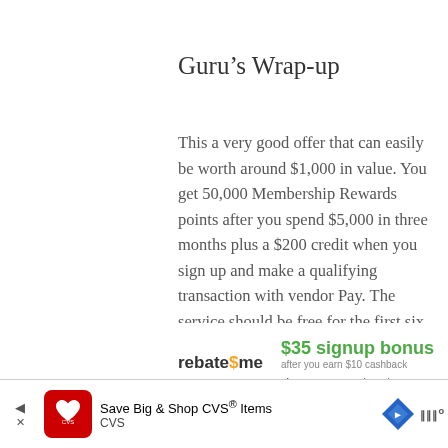Guru’s Wrap-up
This a very good offer that can easily be worth around $1,000 in value. You get 50,000 Membership Rewards points after you spend $5,000 in three months plus a $200 credit when you sign up and make a qualifying transaction with vendor Pay. The service should be free for the first six month. This is definitely much better than the current public offer, if you are targeted.
HT: DoC
[Figure (advertisement): rebate$me logo with $35 signup bonus advertisement]
[Figure (advertisement): CVS pharmacy Save Big & Shop CVS Items banner advertisement]